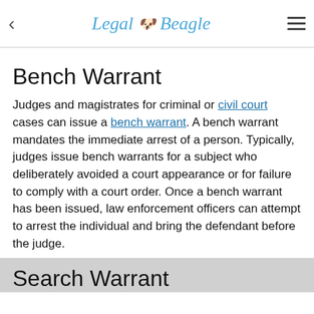Legal Beagle
Bench Warrant
Judges and magistrates for criminal or civil court cases can issue a bench warrant. A bench warrant mandates the immediate arrest of a person. Typically, judges issue bench warrants for a subject who deliberately avoided a court appearance or for failure to comply with a court order. Once a bench warrant has been issued, law enforcement officers can attempt to arrest the individual and bring the defendant before the judge.
Search Warrant